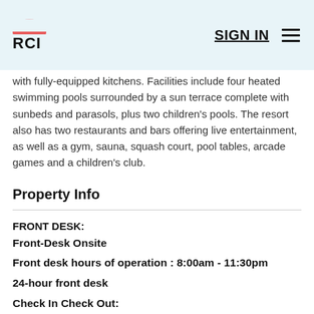RCI — SIGN IN
with fully-equipped kitchens. Facilities include four heated swimming pools surrounded by a sun terrace complete with sunbeds and parasols, plus two children's pools. The resort also has two restaurants and bars offering live entertainment, as well as a gym, sauna, squash court, pool tables, arcade games and a children's club.
Property Info
FRONT DESK:
Front-Desk Onsite
Front desk hours of operation : 8:00am - 11:30pm
24-hour front desk
Check In Check Out: